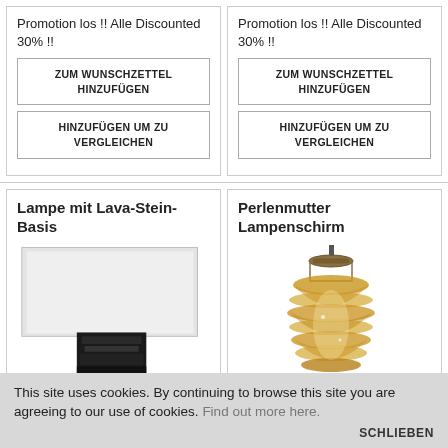Promotion los !! Alle Discounted 30% !!
ZUM WUNSCHZETTEL HINZUFÜGEN
HINZUFÜGEN UM ZU VERGLEICHEN
Promotion los !! Alle Discounted 30% !!
ZUM WUNSCHZETTEL HINZUFÜGEN
HINZUFÜGEN UM ZU VERGLEICHEN
Lampe mit Lava-Stein-Basis
[Figure (photo): Photo of a table lamp with a white rectangular shade and dark lava stone base]
Perlenmutter Lampenschirm
[Figure (photo): Photo of a pendant lamp shade made of mother-of-pearl shells, golden/amber color]
This site uses cookies. By continuing to browse this site you are agreeing to our use of cookies. Find out more here.
SCHLIEBEN